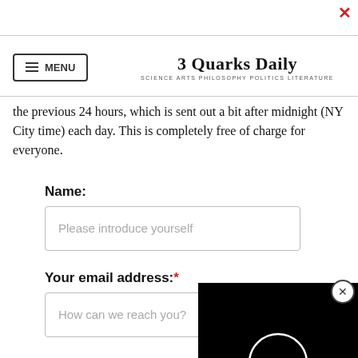3 Quarks Daily — SCIENCE ARTS PHILOSOPHY POLITICS LITERATURE
the previous 24 hours, which is sent out a bit after midnight (NY City time) each day. This is completely free of charge for everyone.
Name:
Please introduce yourself
Your email address:*
How can we reach you?
SUBSCRIBE
Email Terms &